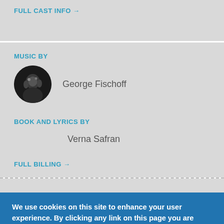FULL CAST INFO →
MUSIC BY
[Figure (photo): Circular black and white avatar photo of George Fischoff]
George Fischoff
BOOK AND LYRICS BY
Verna Safran
FULL BILLING →
We use cookies on this site to enhance your user experience. By clicking any link on this page you are giving your consent for us to set cookies. More info
OK, I agree